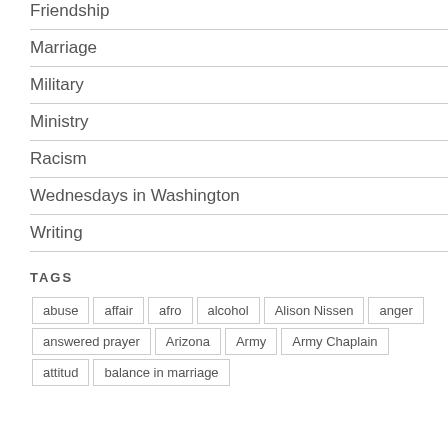Friendship
Marriage
Military
Ministry
Racism
Wednesdays in Washington
Writing
TAGS
abuse
affair
afro
alcohol
Alison Nissen
anger
answered prayer
Arizona
Army
Army Chaplain
attitud
balance in marriage